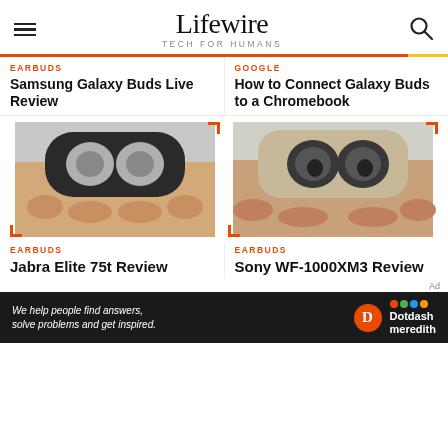Lifewire TECH FOR HUMANS
EARBUDS
Samsung Galaxy Buds Live Review
GOOGLE
How to Connect Galaxy Buds to a Chromebook
[Figure (photo): Hands holding open a charging case containing two wireless earbuds (Jabra Elite 75t)]
[Figure (photo): Hands holding open a charging case with two wireless earbuds (Sony WF-1000XM3)]
EARBUDS
Jabra Elite 75t Review
EARBUDS
Sony WF-1000XM3 Review
Ad
We help people find answers, solve problems and get inspired. Dotdash meredith